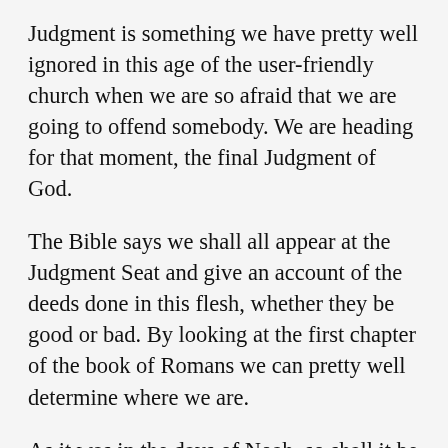Judgment is something we have pretty well ignored in this age of the user-friendly church when we are so afraid that we are going to offend somebody. We are heading for that moment, the final Judgment of God.
The Bible says we shall all appear at the Judgment Seat and give an account of the deeds done in this flesh, whether they be good or bad. By looking at the first chapter of the book of Romans we can pretty well determine where we are.
As it was in the days of Noah, so shall it be in the days of the coming of the Son of Man. How was it in the days of Noah? In the last 11 verses of Romans 1